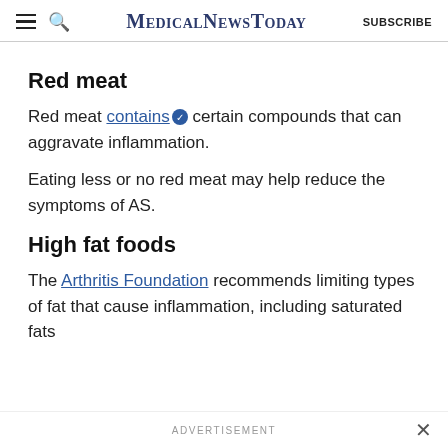MedicalNewsToday | SUBSCRIBE
Red meat
Red meat contains certain compounds that can aggravate inflammation.
Eating less or no red meat may help reduce the symptoms of AS.
High fat foods
The Arthritis Foundation recommends limiting types of fat that cause inflammation, including saturated fats
ADVERTISEMENT